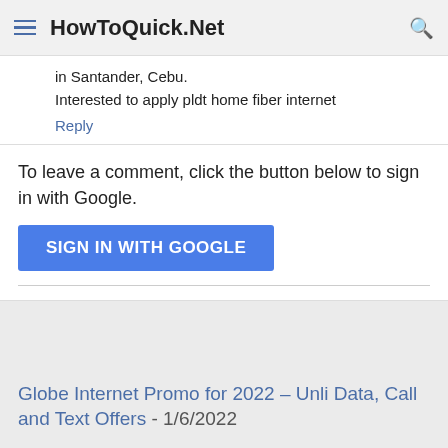HowToQuick.Net
in Santander, Cebu.
Interested to apply pldt home fiber internet
Reply
To leave a comment, click the button below to sign in with Google.
SIGN IN WITH GOOGLE
Globe Internet Promo for 2022 – Unli Data, Call and Text Offers - 1/6/2022